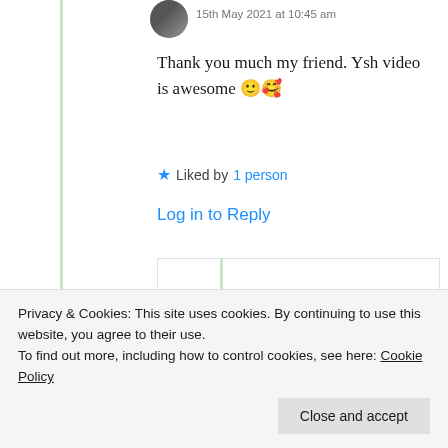15th May 2021 at 10:45 am
Thank you much my friend. Ysh video is awesome 🙂🥰
★ Liked by 1 person
Log in to Reply
Thattamma
C. C. Menon
Privacy & Cookies: This site uses cookies. By continuing to use this website, you agree to their use.
To find out more, including how to control cookies, see here: Cookie Policy
Close and accept